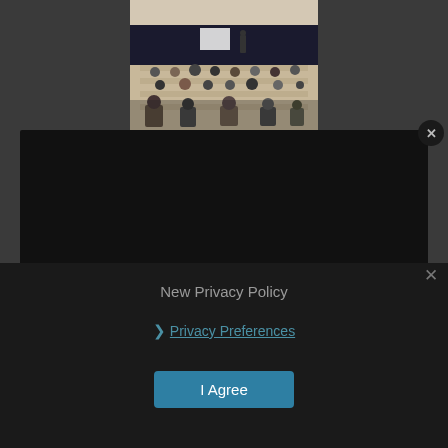[Figure (photo): A conference or seminar room with many attendees seated at tables, facing a stage or presentation area. A presenter stands at the front near a screen. The room has high ceilings and banquet-style seating.]
New Privacy Policy
❯ Privacy Preferences
I Agree